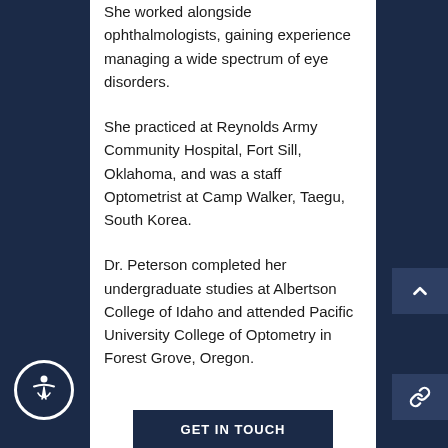She worked alongside ophthalmologists, gaining experience managing a wide spectrum of eye disorders.
She practiced at Reynolds Army Community Hospital, Fort Sill, Oklahoma, and was a staff Optometrist at Camp Walker, Taegu, South Korea.
Dr. Peterson completed her undergraduate studies at Albertson College of Idaho and attended Pacific University College of Optometry in Forest Grove, Oregon.